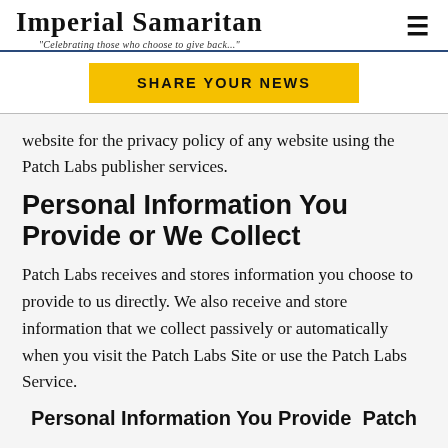Imperial Samaritan — "Celebrating those who choose to give back..."
SHARE YOUR NEWS
website for the privacy policy of any website using the Patch Labs publisher services.
Personal Information You Provide or We Collect
Patch Labs receives and stores information you choose to provide to us directly. We also receive and store information that we collect passively or automatically when you visit the Patch Labs Site or use the Patch Labs Service.
Personal Information You Provide  Patch